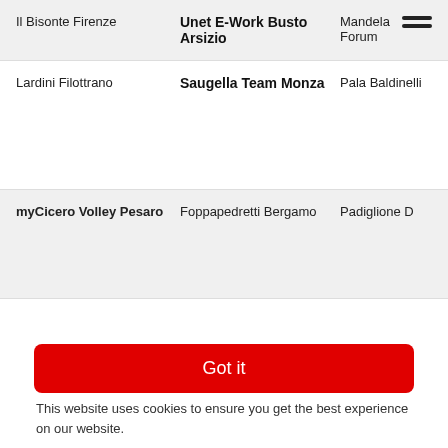Il Bisonte Firenze | Unet E-Work Busto Arsizio | Mandela Forum
Lardini Filottrano | Saugella Team Monza | Pala Baldinelli
myCicero Volley Pesaro | Foppapedretti Bergamo | Padiglione D
Got it
This website uses cookies to ensure you get the best experience on our website.